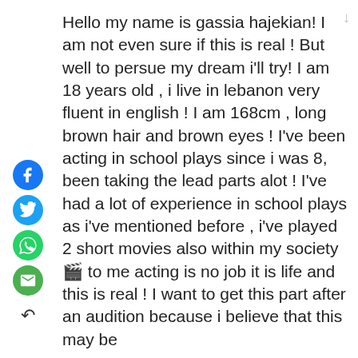[Figure (infographic): Vertical sidebar with social sharing icons: Facebook (blue circle), Twitter (blue circle), WhatsApp (green circle), Email (green circle), and a back arrow below.]
Hello my name is gassia hajekian! I am not even sure if this is real ! But well to persue my dream i'll try! I am 18 years old , i live in lebanon very fluent in english ! I am 168cm , long brown hair and brown eyes ! I've been acting in school plays since i was 8, been taking the lead parts alot ! I've had a lot of experience in school plays as i've mentioned before , i've played 2 short movies also within my society 🎬 to me acting is no job it is life and this is real ! I want to get this part after an audition because i believe that this may be